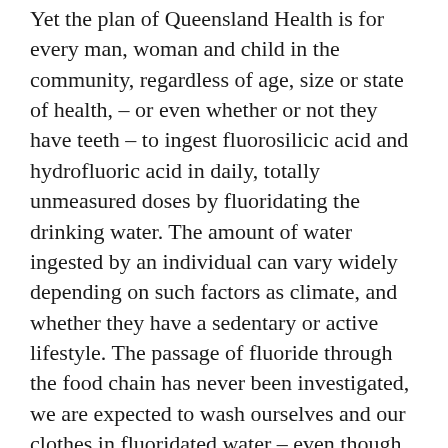Yet the plan of Queensland Health is for every man, woman and child in the community, regardless of age, size or state of health, – or even whether or not they have teeth – to ingest fluorosilicic acid and hydrofluoric acid in daily, totally unmeasured doses by fluoridating the drinking water. The amount of water ingested by an individual can vary widely depending on such factors as climate, and whether they have a sedentary or active lifestyle. The passage of fluoride through the food chain has never been investigated, we are expected to wash ourselves and our clothes in fluoridated water – even though it is suspected that fluoride can be absorbed through the skin, and the fluoridated water is then carried away to accumulate in our environment. What gives the Premier the right to dictate that I will be forced to ingest fluoride irrespective of my wishes or medical (not just dental) concerns?